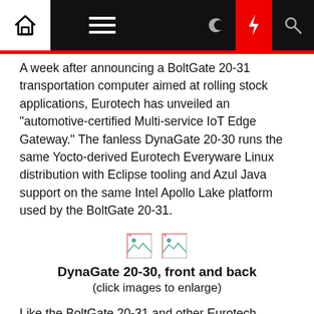Navigation bar with home, menu, dark mode, lightning, and search icons
A week after announcing a BoltGate 20-31 transportation computer aimed at rolling stock applications, Eurotech has unveiled an "automotive-certified Multi-service IoT Edge Gateway." The fanless DynaGate 20-30 runs the same Yocto-derived Eurotech Everyware Linux distribution with Eclipse tooling and Azul Java support on the same Intel Apollo Lake platform used by the BoltGate 20-31.
[Figure (photo): Two small broken image thumbnails representing front and back views of DynaGate 20-30]
DynaGate 20-30, front and back
(click images to enlarge)
Like the BoltGate 20-31 and other Eurotech